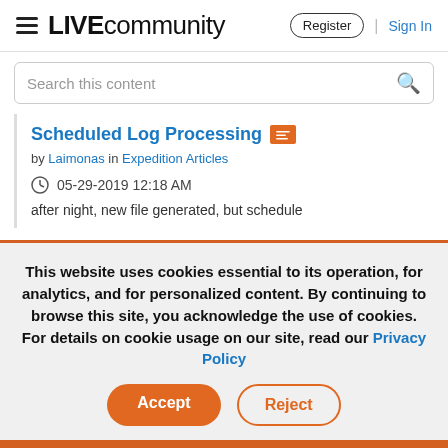LIVE community | Register | Sign In
Search this content
Scheduled Log Processing
by Laimonas in Expedition Articles
05-29-2019 12:18 AM
after night, new file generated, but schedule
This website uses cookies essential to its operation, for analytics, and for personalized content. By continuing to browse this site, you acknowledge the use of cookies. For details on cookie usage on our site, read our Privacy Policy
Accept
Reject